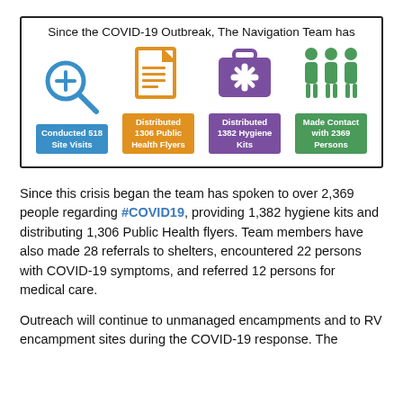[Figure (infographic): Infographic box titled 'Since the COVID-19 Outbreak, The Navigation Team has' with four icon columns: magnifying glass with plus (Conducted 518 Site Visits, blue), document with lines (Distributed 1306 Public Health Flyers, orange), medical kit (Distributed 1382 Hygiene Kits, purple), three person silhouettes (Made Contact with 2369 Persons, green)]
Since this crisis began the team has spoken to over 2,369 people regarding #COVID19, providing 1,382 hygiene kits and distributing 1,306 Public Health flyers. Team members have also made 28 referrals to shelters, encountered 22 persons with COVID-19 symptoms, and referred 12 persons for medical care.
Outreach will continue to unmanaged encampments and to RV encampment sites during the COVID-19 response. The